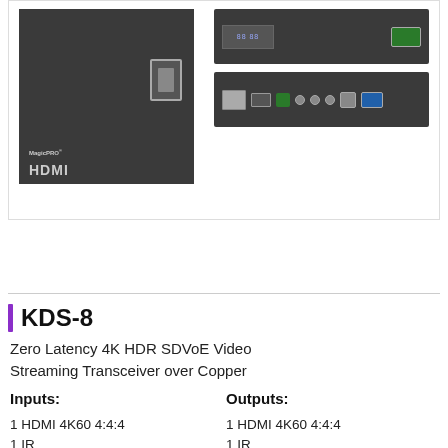[Figure (photo): Product photos of KDS-8 device: left side shows front panel with dark enclosure, brand logo, HDMI label, and card slot; right side shows two panels - top panel with display readout and connectors, bottom panel with ports including RJ45, HDMI, Ethernet, audio jacks, and USB.]
Request A Quote
KDS-8
Zero Latency 4K HDR SDVoE Video Streaming Transceiver over Copper
Inputs:
Outputs:
1 HDMI 4K60 4:4:4
1 IR
1 HDMI 4K60 4:4:4
1 IR
Ports:
-1 Ethernet 10GbE
-1 Stereo (U)
-1 Ethernet 1GbE
-1 RS-232